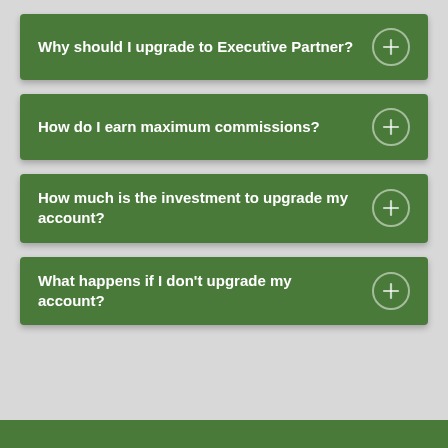Why should I upgrade to Executive Partner?
How do I earn maximum commissions?
How much is the investment to upgrade my account?
What happens if I don't upgrade my account?